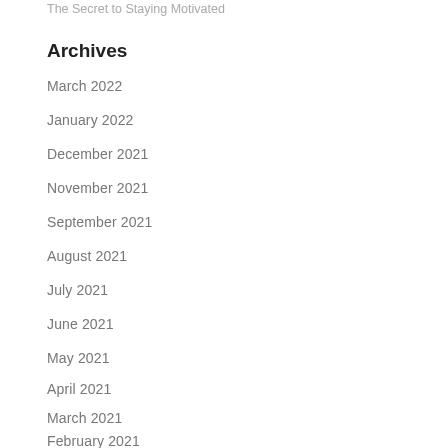The Secret to Staying Motivated
Archives
March 2022
January 2022
December 2021
November 2021
September 2021
August 2021
July 2021
June 2021
May 2021
April 2021
March 2021
February 2021
January 2021